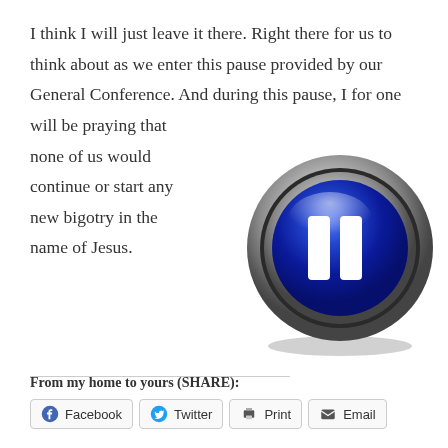I think I will just leave it there. Right there for us to think about as we enter this pause provided by our General Conference. And during this pause, I for one will be praying that none of us would continue or start any new bigotry in the name of Jesus.
[Figure (illustration): A glossy blue circular pause button with two white vertical bars, surrounded by a silver/gray metallic ring, on a white background.]
From my home to yours (SHARE):
Facebook
Twitter
Print
Email